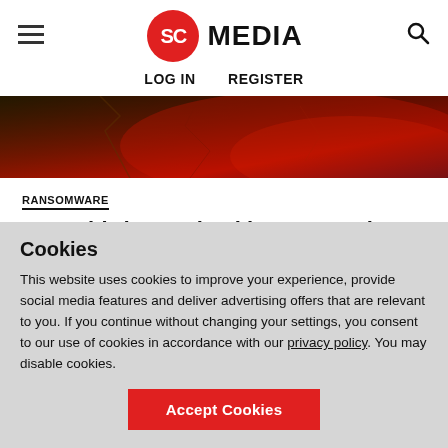SC MEDIA — LOG IN  REGISTER
[Figure (photo): Dark moody hero image with red and dark tones, appears to show a cracked or textured surface with red lighting, representing conflict or tension.]
RANSOMWARE
Have third-party hacking groups lost interest in Russia-Ukraine conflict?
Derek B. Johnson  August 29, 2022
Partisan hackers who swore to extend the Russia-Ukraine conflict to the
Cookies
This website uses cookies to improve your experience, provide social media features and deliver advertising offers that are relevant to you. If you continue without changing your settings, you consent to our use of cookies in accordance with our privacy policy. You may disable cookies.
Accept Cookies